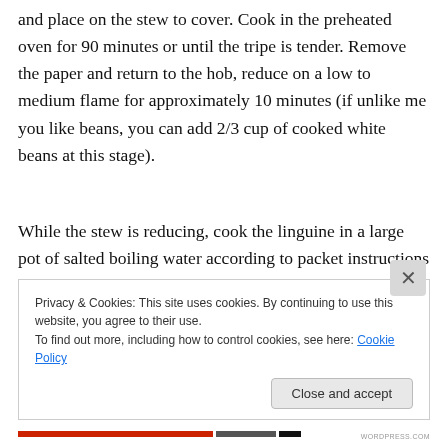and place on the stew to cover. Cook in the preheated oven for 90 minutes or until the tripe is tender. Remove the paper and return to the hob, reduce on a low to medium flame for approximately 10 minutes (if unlike me you like beans, you can add 2/3 cup of cooked white beans at this stage).
While the stew is reducing, cook the linguine in a large pot of salted boiling water according to packet instructions until al dente and drain. To finish the dish, stir the basil, half of the grated parmesan and 1 tbsp of extra virgin olive
Privacy & Cookies: This site uses cookies. By continuing to use this website, you agree to their use.
To find out more, including how to control cookies, see here: Cookie Policy